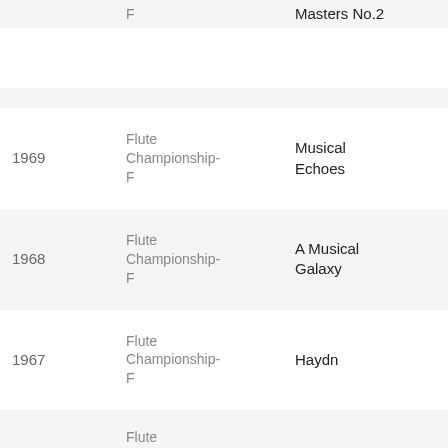| Year | Category | Title | Number |
| --- | --- | --- | --- |
|  | F | Masters No.2 |  |
| 1969 | Flute Championship-F | Musical Echoes | 73 |
| 1968 | Flute Championship-F | A Musical Galaxy | 173 |
| 1967 | Flute Championship-F | Haydn | 85 |
| 1966 | Flute Championship-F | Zampa | 76 |